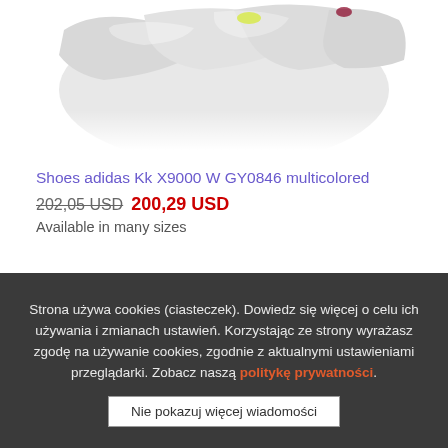[Figure (photo): Partial top view of adidas Kk X9000 W GY0846 multicolored sneaker/shoe, showing upper portion of the shoe in white/grey tones with small yellow and dark accents, cropped at top.]
Shoes adidas Kk X9000 W GY0846 multicolored
202,05 USD 200,29 USD
Available in many sizes
Strona używa cookies (ciasteczek). Dowiedz się więcej o celu ich używania i zmianach ustawień. Korzystając ze strony wyrażasz zgodę na używanie cookies, zgodnie z aktualnymi ustawieniami przeglądarki. Zobacz naszą politykę prywatności.
Nie pokazuj więcej wiadomości